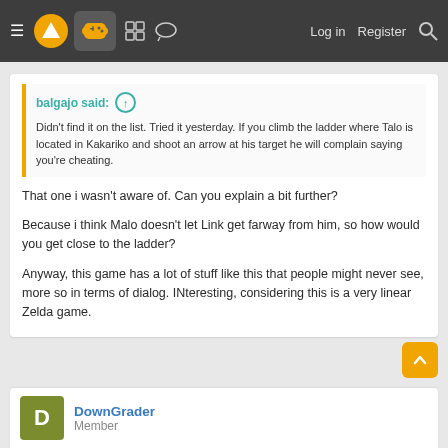≡ [logo] [controller icon] [grid icon] [chat icon]   Log in   Register   🔍
balgajo said: ↑
Didn't find it on the list. Tried it yesterday. If you climb the ladder where Talo is located in Kakariko and shoot an arrow at his target he will complain saying you're cheating.
That one i wasn't aware of. Can you explain a bit further?

Because i think Malo doesn't let Link get farway from him, so how would you get close to the ladder?

Anyway, this game has a lot of stuff like this that people might never see, more so in terms of dialog. INteresting, considering this is a very linear Zelda game.
DownGrader
Member